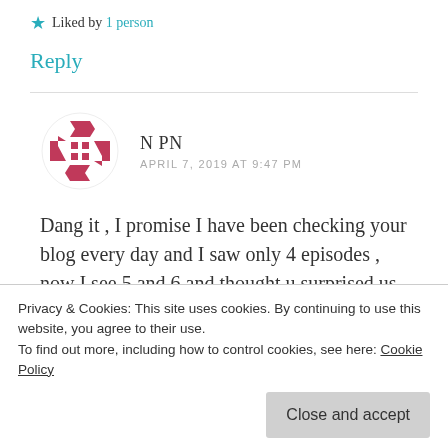★ Liked by 1person
Reply
[Figure (illustration): Circular avatar icon with pink/magenta geometric puzzle-piece arrow shapes arranged in a circle on white background]
N PN
APRIL 7, 2019 AT 9:47 PM
Dang it , I promise I have been checking your blog every day and I saw only 4 episodes , now I see 5 and 6 and thought u surprised us with 2 chapters this time but looks like 5 was posted
Privacy & Cookies: This site uses cookies. By continuing to use this website, you agree to their use.
To find out more, including how to control cookies, see here: Cookie Policy
Close and accept